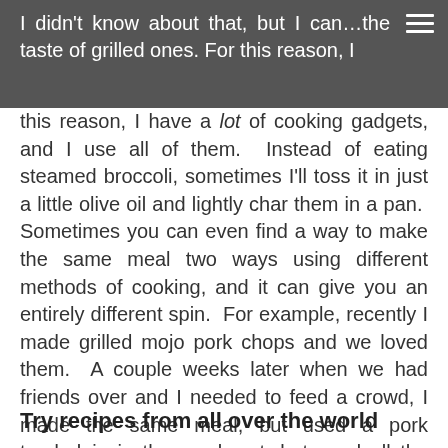this reason, I have a lot of cooking gadgets, and I use all of them. Instead of eating steamed broccoli, sometimes I'll toss it in just a little olive oil and lightly char them in a pan. Sometimes you can even find a way to make the same meal two ways using different methods of cooking, and it can give you an entirely different spin. For example, recently I made grilled mojo pork chops and we loved them. A couple weeks later when we had friends over and I needed to feed a crowd, I made the same meal, but used a pork tenderloin in the crock pot, but used all the same marinade ingredients. After cooking all day, I shredded it up before serving, and we had a meal that felt really different even though the ingredients were exactly the same.
Try recipes from all over the world